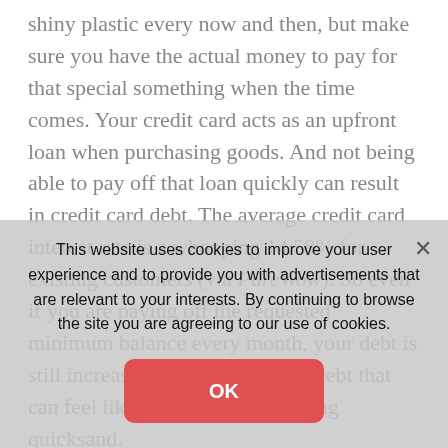shiny plastic every now and then, but make sure you have the actual money to pay for that special something when the time comes. Your credit card acts as an upfront loan when purchasing goods. And not being able to pay off that loan quickly can result in credit card debt. The average credit card interest rate is a whooping 14.58% for existing customers (via PureWow). So even if you are paying off the requested minimum balance every month, your debt is still increasing. This is a type of debt that can feel like you're in never-ending quicksand.
This website uses cookies to improve your user experience and to provide you with advertisements that are relevant to your interests. By continuing to browse the site you are agreeing to our use of cookies.